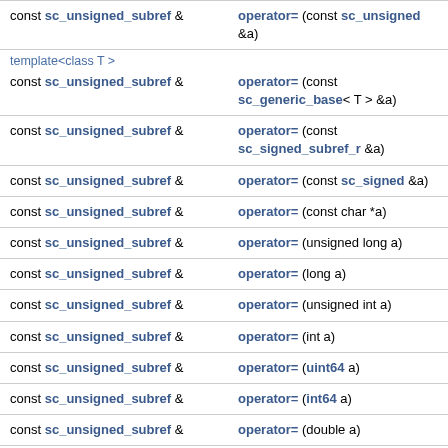| Return type | Function signature |
| --- | --- |
| const sc_unsigned_subref & | operator= (const sc_unsigned &a) |
| template<class T > |  |
| const sc_unsigned_subref & | operator= (const sc_generic_base< T > &a) |
| const sc_unsigned_subref & | operator= (const sc_signed_subref_r &a) |
| const sc_unsigned_subref & | operator= (const sc_signed &a) |
| const sc_unsigned_subref & | operator= (const char *a) |
| const sc_unsigned_subref & | operator= (unsigned long a) |
| const sc_unsigned_subref & | operator= (long a) |
| const sc_unsigned_subref & | operator= (unsigned int a) |
| const sc_unsigned_subref & | operator= (int a) |
| const sc_unsigned_subref & | operator= (uint64 a) |
| const sc_unsigned_subref & | operator= (int64 a) |
| const sc_unsigned_subref & | operator= (double a) |
| const sc_unsigned_subref & | operator= (const sc_int_base &a) |
| const sc_unsigned_subref & | operator= (const sc_uint_base &a) |